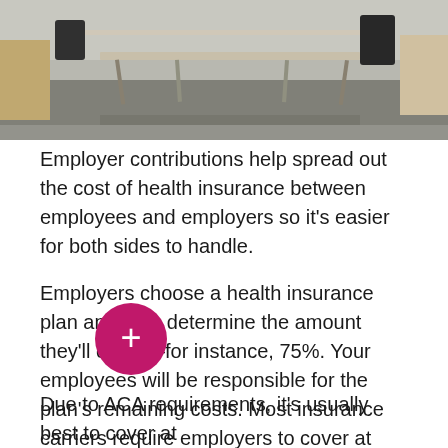[Figure (photo): Office interior with a conference table and chairs, industrial-style space with grey carpet and modern furniture]
Employer contributions help spread out the cost of health insurance between employees and employers so it's easier for both sides to handle.
Employers choose a health insurance plan and then determine the amount they'll cover—for instance, 75%. Your employees will be responsible for the plan's remaining costs. Most insurance carriers require employers to cover at least 50% of the employee premium, though not all, and some companies waive the 50% requirement for January 1st dates.
Due to ACA requirements, it's usually best to cover at